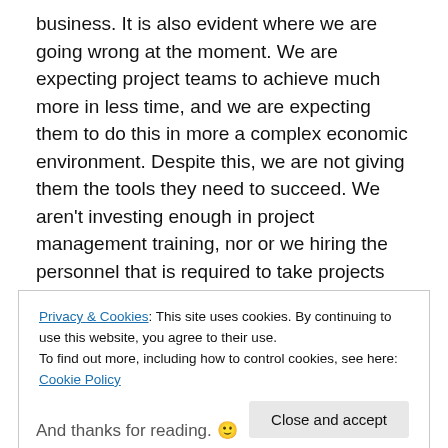business. It is also evident where we are going wrong at the moment. We are expecting project teams to achieve much more in less time, and we are expecting them to do this in more a complex economic environment. Despite this, we are not giving them the tools they need to succeed. We aren't investing enough in project management training, nor or we hiring the personnel that is required to take projects forward. By making these changes, we can expect to see businesses grow and take great strides forward.
Privacy & Cookies: This site uses cookies. By continuing to use this website, you agree to their use. To find out more, including how to control cookies, see here: Cookie Policy
Close and accept
And thanks for reading. 🙂